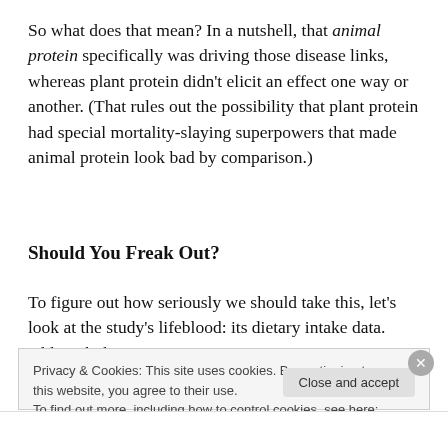So what does that mean? In a nutshell, that animal protein specifically was driving those disease links, whereas plant protein didn’t elicit an effect one way or another. (That rules out the possibility that plant protein had special mortality-slaying superpowers that made animal protein look bad by comparison.)
Should You Freak Out?
To figure out how seriously we should take this, let’s look at the study’s lifeblood: its dietary intake data. Although the
Privacy & Cookies: This site uses cookies. By continuing to use this website, you agree to their use.
To find out more, including how to control cookies, see here: Cookie Policy
Close and accept